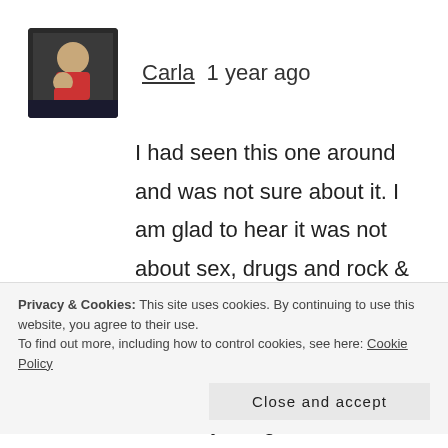[Figure (photo): Avatar photo of a person with a child, square thumbnail]
Carla    1 year ago
I had seen this one around and was not sure about it. I am glad to hear it was not about sex, drugs and rock & roll. I like a character based story, even though this character was a hot mess. It definitely intrigues me though. Great review Tessa.
Privacy & Cookies: This site uses cookies. By continuing to use this website, you agree to their use.
To find out more, including how to control cookies, see here: Cookie Policy
Close and accept